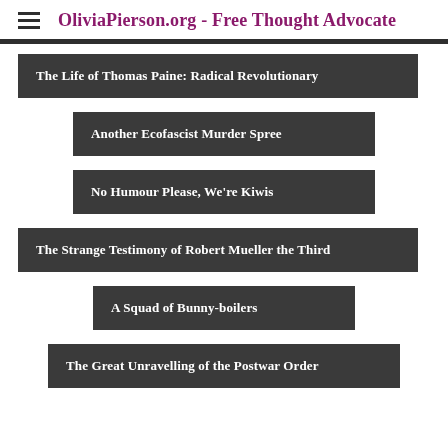OliviaPierson.org - Free Thought Advocate
The Life of Thomas Paine: Radical Revolutionary
Another Ecofascist Murder Spree
No Humour Please, We're Kiwis
The Strange Testimony of Robert Mueller the Third
A Squad of Bunny-boilers
The Great Unravelling of the Postwar Order